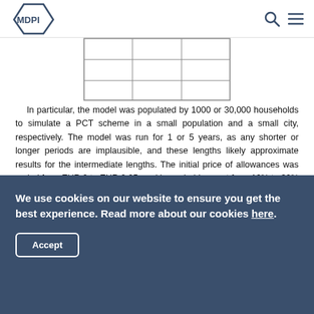MDPI
[Figure (table-as-image): Partial view of a table with grid lines showing rows and columns, cropped at the top of the page]
In particular, the model was populated by 1000 or 30,000 households to simulate a PCT scheme in a small population and a small city, respectively. The model was run for 1 or 5 years, as any shorter or longer periods are implausible, and these lengths likely approximate results for the intermediate lengths. The initial price of allowances was varied from EUR 0 to EUR 0.05, and households spent from 10% to 30% of their income on allowances. The initial allocation of allowances may vary from 90% to 110% of the mean initial demand. The target annual
We use cookies on our website to ensure you get the best experience. Read more about our cookies here.
Accept